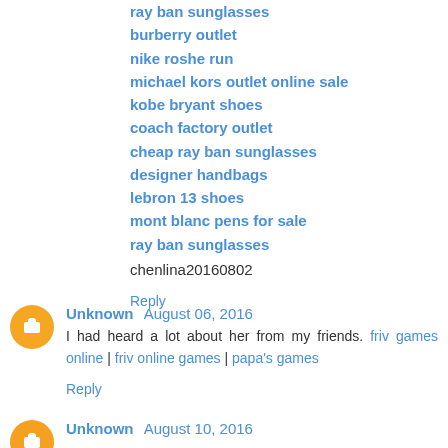ray ban sunglasses
burberry outlet
nike roshe run
michael kors outlet online sale
kobe bryant shoes
coach factory outlet
cheap ray ban sunglasses
designer handbags
lebron 13 shoes
mont blanc pens for sale
ray ban sunglasses
chenlina20160802
Reply
Unknown  August 06, 2016
I had heard a lot about her from my friends. friv games online | friv online games | papa's games
Reply
Unknown  August 10, 2016